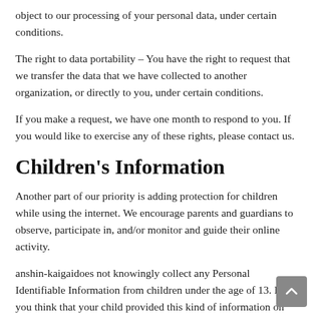object to our processing of your personal data, under certain conditions.
The right to data portability – You have the right to request that we transfer the data that we have collected to another organization, or directly to you, under certain conditions.
If you make a request, we have one month to respond to you. If you would like to exercise any of these rights, please contact us.
Children's Information
Another part of our priority is adding protection for children while using the internet. We encourage parents and guardians to observe, participate in, and/or monitor and guide their online activity.
anshin-kaigaidoes not knowingly collect any Personal Identifiable Information from children under the age of 13. If you think that your child provided this kind of information on our website, we strongly encourage you to